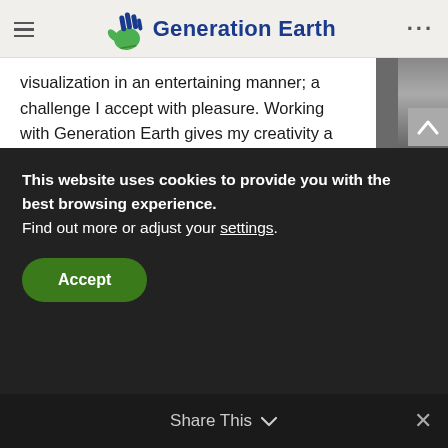Generation Earth
visualization in an entertaining manner; a challenge I accept with pleasure. Working with Generation Earth gives my creativity a meaningful outlet and allows me to be a part of a group of motivated people, who, due to their great engagement, already made the world a slightly better place.
Aschurina
Content Creator
This website uses cookies to provide you with the best browsing experience. Find out more or adjust your settings.
Accept
Share This